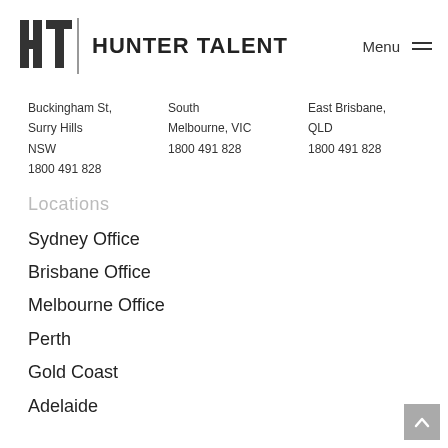[Figure (logo): Hunter Talent logo with HT monogram and vertical bar divider, followed by bold text HUNTER TALENT]
Menu ☰
Buckingham St, South East Brisbane,
Surry Hills Melbourne, VIC QLD
NSW 1800 491 828 1800 491 828
1800 491 828
Locations
Sydney Office
Brisbane Office
Melbourne Office
Perth
Gold Coast
Adelaide